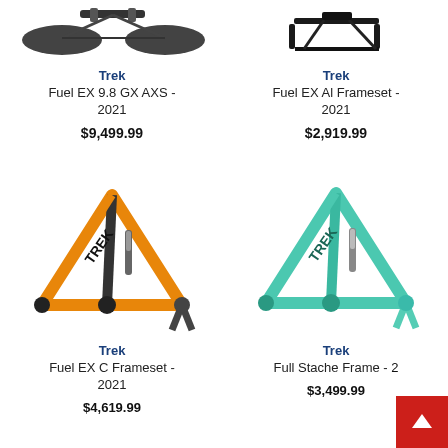[Figure (photo): Trek Fuel EX 9.8 GX AXS 2021 bicycle (top, partially cropped)]
Trek
Fuel EX 9.8 GX AXS - 2021
$9,499.99
[Figure (photo): Trek Fuel EX Al Frameset 2021 bicycle frameset (top, partially cropped)]
Trek
Fuel EX Al Frameset - 2021
$2,919.99
[Figure (photo): Trek Fuel EX C Frameset 2021 - orange and black bicycle frame]
Trek
Fuel EX C Frameset - 2021
$4,619.99
[Figure (photo): Trek Full Stache Frame 2021 - teal/mint green bicycle frame]
Trek
Full Stache Frame - 2
$3,499.99